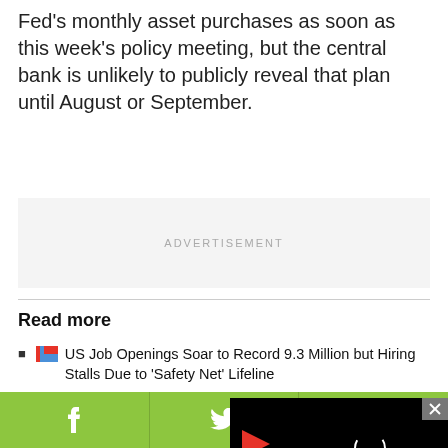Fed's monthly asset purchases as soon as this week's policy meeting, but the central bank is unlikely to publicly reveal that plan until August or September.
[Figure (other): Advertisement placeholder box with gray background and 'ADVERTISEMENT' text in light gray]
Read more
US Job Openings Soar to Record 9.3 Million but Hiring Stalls Due to 'Safety Net' Lifeline
Global M&A Surges to Record High for Third Straight Month
US Economy Gath... Again
[Figure (screenshot): Video player overlay panel with black background, red play arrow icon, loading spinner circle, and close button in top-right corner]
[Figure (other): Social sharing bar with green background showing Facebook, Twitter, and WhatsApp icons]